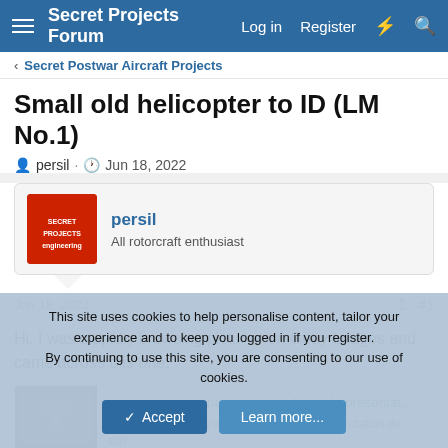Secret Projects Forum  Log in  Register
< Secret Postwar Aircraft Projects
Small old helicopter to ID (LM No.1)
persil · Jun 18, 2022
persil
All rotorcraft enthusiast
Jun 18, 2022  #1
Hi. I was stupidly browsing pictures on Getty Images and came across this one:
[Figure (screenshot): Embedded link card with thumbnail image and French text: 'Un inventeur prépare son stand pour la présentat...' and description 'Un inventeur prépare son stand pour la présentation de son']
This site uses cookies to help personalise content, tailor your experience and to keep you logged in if you register.
By continuing to use this site, you are consenting to our use of cookies.